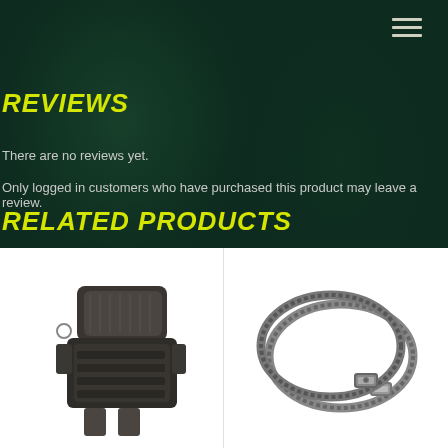REVIEWS
There are no reviews yet.
Only logged in customers who have purchased this product may leave a review.
RELATED PRODUCTS
[Figure (photo): Black plastic buckle strap clamp accessory product photo on white background]
[Figure (photo): Two metal hose clamp rings / worm drive clamps on white background]